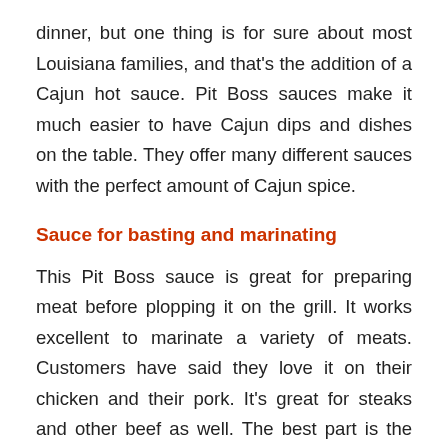dinner, but one thing is for sure about most Louisiana families, and that's the addition of a Cajun hot sauce. Pit Boss sauces make it much easier to have Cajun dips and dishes on the table. They offer many different sauces with the perfect amount of Cajun spice.
Sauce for basting and marinating
This Pit Boss sauce is great for preparing meat before plopping it on the grill. It works excellent to marinate a variety of meats. Customers have said they love it on their chicken and their pork. It's great for steaks and other beef as well. The best part is the unique flavor of this basting sauce. It